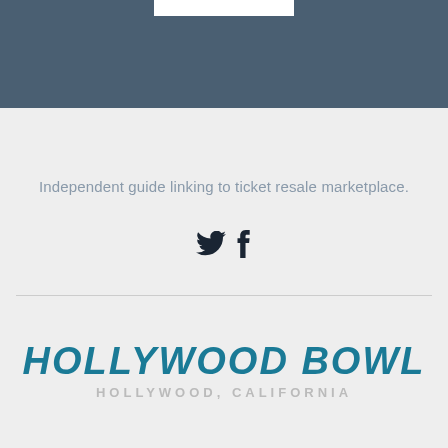[Figure (other): Dark steel-blue banner header at the top of the page with a small white rectangle at the top center (likely a logo placeholder)]
Independent guide linking to ticket resale marketplace.
[Figure (other): Twitter and Facebook social media icons displayed side by side]
[Figure (logo): Hollywood Bowl venue logo — large bold italic teal text reading HOLLYWOOD BOWL with HOLLYWOOD, CALIFORNIA in smaller gray uppercase letters below]